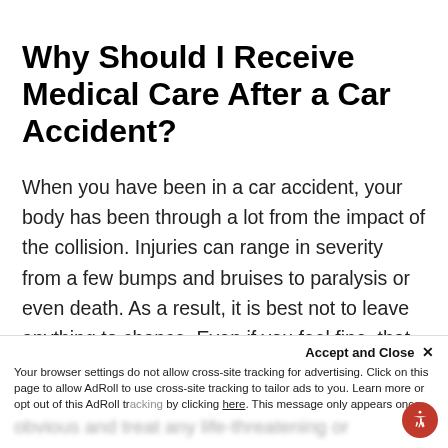Why Should I Receive Medical Care After a Car Accident?
When you have been in a car accident, your body has been through a lot from the impact of the collision. Injuries can range in severity from a few bumps and bruises to paralysis or even death. As a result, it is best not to leave anything to chance. Even if you feel fine, that may not be the case.
Naturally, after an accident, a Ochlocknee physician
Accept and Close ×
Your browser settings do not allow cross-site tracking for advertising. Click on this page to allow AdRoll to use cross-site tracking to tailor ads to you. Learn more or opt out of this AdRoll tracking by clicking here. This message only appears once.